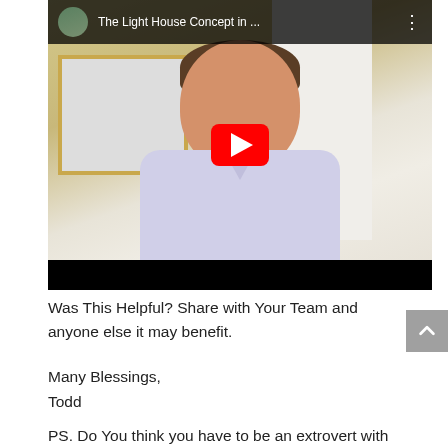[Figure (screenshot): YouTube video thumbnail showing a middle-aged man in a light blue v-neck shirt sitting in front of a white door and framed artwork, with YouTube player controls. Title reads 'The Light House Concept in ...']
Was This Helpful? Share with Your Team and anyone else it may benefit.
Many Blessings,
Todd
PS. Do You think you have to be an extrovert with a